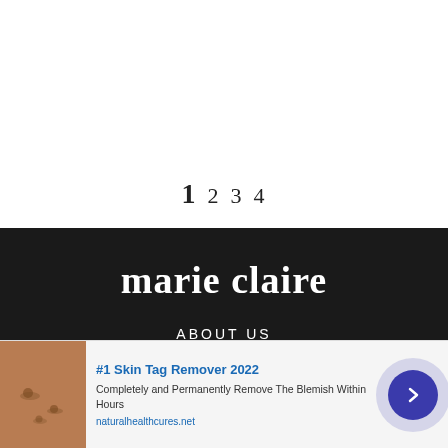1 2 3 4
[Figure (logo): marie claire logo in white serif font on dark background]
ABOUT US
CONTACT US
[Figure (infographic): Advertisement banner: #1 Skin Tag Remover 2022. Completely and Permanently Remove The Blemish Within Hours. naturalhealthcures.net]